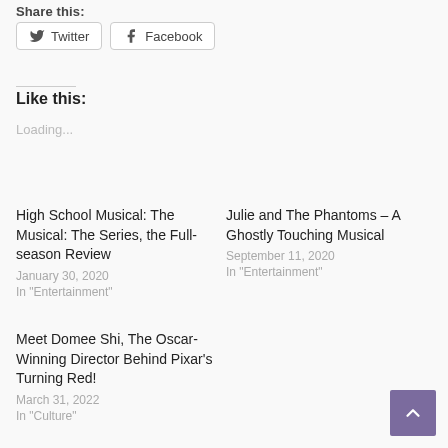Share this:
Twitter  Facebook
Like this:
Loading...
High School Musical: The Musical: The Series, the Full-season Review
January 30, 2020
In "Entertainment"
Julie and The Phantoms – A Ghostly Touching Musical
September 11, 2020
In "Entertainment"
Meet Domee Shi, The Oscar-Winning Director Behind Pixar's Turning Red!
March 31, 2022
In "Culture"